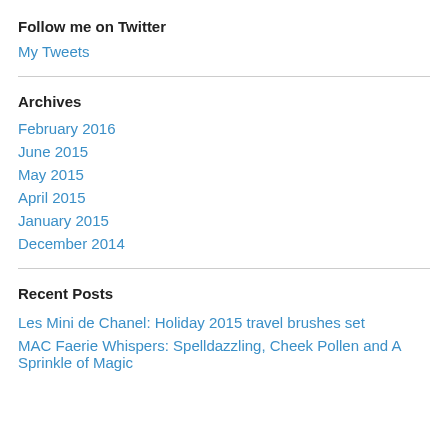Follow me on Twitter
My Tweets
Archives
February 2016
June 2015
May 2015
April 2015
January 2015
December 2014
Recent Posts
Les Mini de Chanel: Holiday 2015 travel brushes set
MAC Faerie Whispers: Spelldazzling, Cheek Pollen and A Sprinkle of Magic